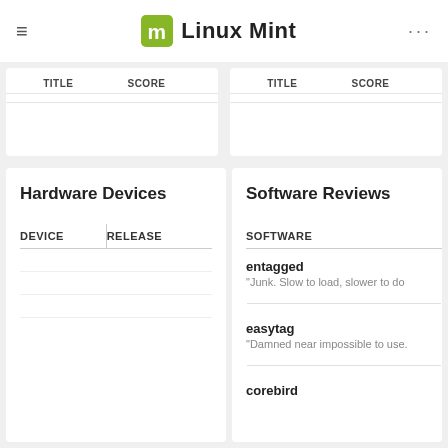Linux Mint
| TITLE | SCORE | TITLE | SCORE |
| --- | --- | --- | --- |
Hardware Devices
| DEVICE | RELEASE |
| --- | --- |
Software Reviews
| SOFTWARE |
| --- |
| entagged | "Junk. Slow to load, slower to do..." |
| easytag | "Damned near impossible to use..." |
| corebird |  |